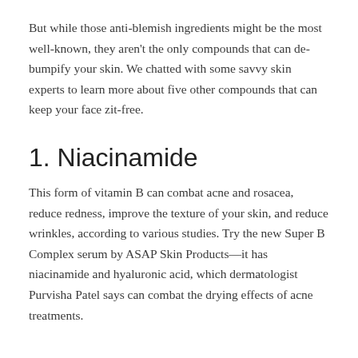But while those anti-blemish ingredients might be the most well-known, they aren't the only compounds that can de-bumpify your skin. We chatted with some savvy skin experts to learn more about five other compounds that can keep your face zit-free.
1. Niacinamide
This form of vitamin B can combat acne and rosacea, reduce redness, improve the texture of your skin, and reduce wrinkles, according to various studies. Try the new Super B Complex serum by ASAP Skin Products—it has niacinamide and hyaluronic acid, which dermatologist Purvisha Patel says can combat the drying effects of acne treatments.